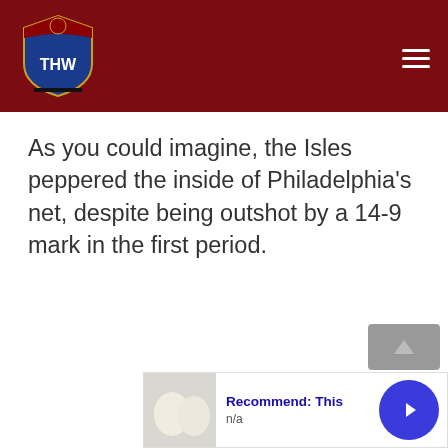THW (The Hockey Writers) logo and navigation
As you could imagine, the Isles peppered the inside of Philadelphia's net, despite being outshot by a 14-9 mark in the first period.
[Figure (other): Advertisement widget showing 'Recommend: This' with thumbnail image of white objects and a blue circular arrow button, labelled n/a]